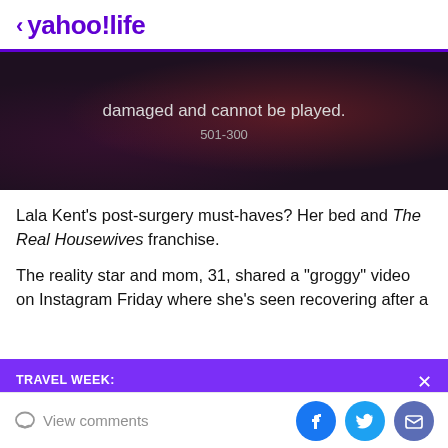< yahoo!life
[Figure (screenshot): Dark video player error screen showing text 'damaged and cannot be played.' with error code '501-300' on a dark reddish-purple background]
Lala Kent's post-surgery must-haves? Her bed and The Real Housewives franchise.
The reality star and mom, 31, shared a "groggy" video on Instagram Friday where she's seen recovering after a
TRAVEL WEEK:
I've been to 31 countries, and I never get on a plane without these 24 things
View comments